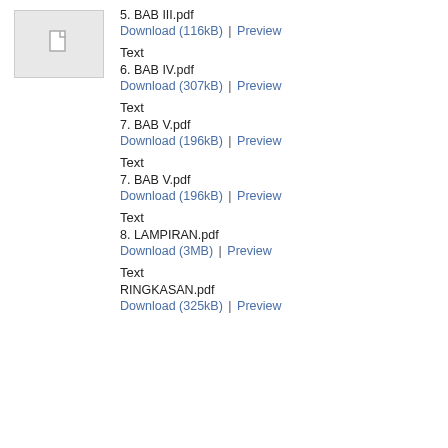[Figure (other): Thumbnail placeholder icon for a PDF document]
5. BAB III.pdf
Download (116kB) | Preview
Text
6. BAB IV.pdf
Download (307kB) | Preview
Text
7. BAB V.pdf
Download (196kB) | Preview
Text
7. BAB V.pdf
Download (196kB) | Preview
Text
8. LAMPIRAN.pdf
Download (3MB) | Preview
Text
RINGKASAN.pdf
Download (325kB) | Preview